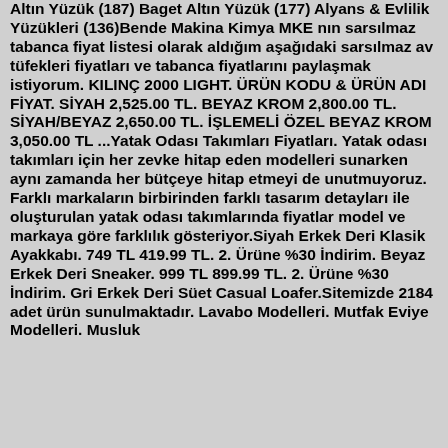Altın Yüzük (187) Baget Altın Yüzük (177) Alyans & Evlilik Yüzükleri (136)Bende Makina Kimya MKE nın sarsılmaz tabanca fiyat listesi olarak aldığım aşağıdaki sarsılmaz av tüfekleri fiyatları ve tabanca fiyatlarını paylaşmak istiyorum. KILINÇ 2000 LIGHT. ÜRÜN KODU & ÜRÜN ADI FİYAT. SİYAH 2,525.00 TL. BEYAZ KROM 2,800.00 TL. SİYAH/BEYAZ 2,650.00 TL. İŞLEMELİ ÖZEL BEYAZ KROM 3,050.00 TL ...Yatak Odası Takımları Fiyatları. Yatak odası takımları için her zevke hitap eden modelleri sunarken aynı zamanda her bütçeye hitap etmeyi de unutmuyoruz. Farklı markaların birbirinden farklı tasarım detayları ile oluşturulan yatak odası takımlarında fiyatlar model ve markaya göre farklılık gösteriyor.Siyah Erkek Deri Klasik Ayakkabı. 749 TL 419.99 TL. 2. Ürüne %30 İndirim. Beyaz Erkek Deri Sneaker. 999 TL 899.99 TL. 2. Ürüne %30 İndirim. Gri Erkek Deri Süet Casual Loafer.Sitemizde 2184 adet ürün sunulmaktadır. Lavabo Modelleri. Mutfak Eviye Modelleri. Musluk